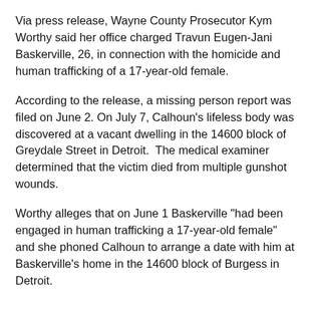Via press release, Wayne County Prosecutor Kym Worthy said her office charged Travun Eugen-Jani Baskerville, 26, in connection with the homicide and human trafficking of a 17-year-old female.
According to the release, a missing person report was filed on June 2. On July 7, Calhoun's lifeless body was discovered at a vacant dwelling in the 14600 block of Greydale Street in Detroit.  The medical examiner determined that the victim died from multiple gunshot wounds.
Worthy alleges that on June 1 Baskerville "had been engaged in human trafficking a 17-year-old female" and she phoned Calhoun to arrange a date with him at Baskerville's home in the 14600 block of Burgess in Detroit.